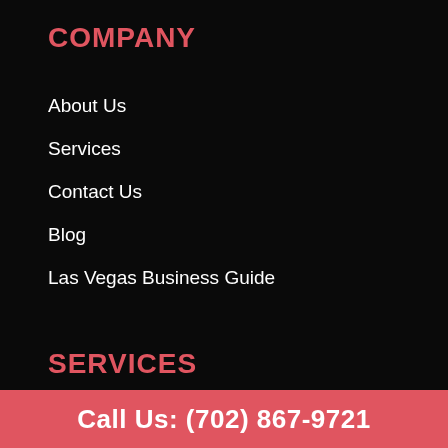COMPANY
About Us
Services
Contact Us
Blog
Las Vegas Business Guide
SERVICES
Fire Protection
Fire Alarm Systems
Call Us: (702) 867-9721